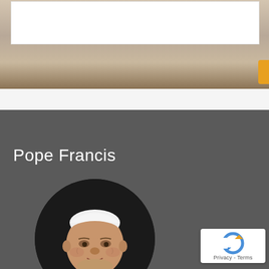[Figure (photo): Top section showing a blurred background photo with a white search/input box overlay, and an orange element at the right edge]
Pope Francis
[Figure (photo): Circular cropped portrait photo of Pope Francis wearing white papal vestments and zucchetto, looking slightly to the side]
[Figure (other): Google reCAPTCHA widget showing the reCAPTCHA logo and Privacy - Terms links]